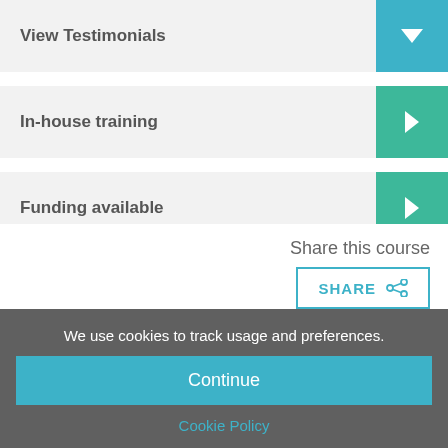View Testimonials
In-house training
Funding available
Share this course
SHARE
We use cookies to track usage and preferences.
Continue
Cookie Policy